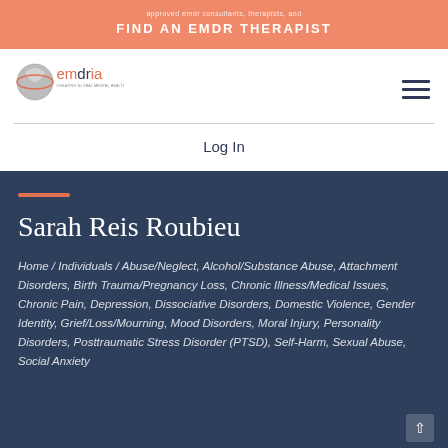FIND AN EMDR THERAPIST
[Figure (logo): EMDRIA logo: circular globe icon with 'emdria' text and tagline 'CREATING GLOBAL MENTAL HEALTH & HOPE']
Log In
Sarah Reis Roubieu
Home / Individuals / Abuse/Neglect, Alcohol/Substance Abuse, Attachment Disorders, Birth Trauma/Pregnancy Loss, Chronic Illness/Medical Issues, Chronic Pain, Depression, Dissociative Disorders, Domestic Violence, Gender Identity, Grief/Loss/Mourning, Mood Disorders, Moral Injury, Personality Disorders, Posttraumatic Stress Disorder (PTSD), Self-Harm, Sexual Abuse, Social Anxiety